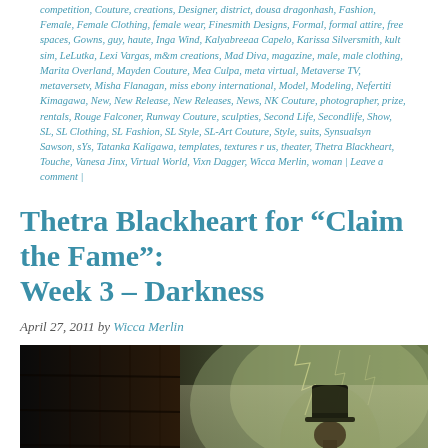competition, Couture, creations, Designer, district, dousa dragonhash, Fashion, Female, Female Clothing, female wear, Finesmith Designs, Formal, formal attire, free spaces, Gowns, guy, haute, Inga Wind, Kalyabreeaa Capelo, Karissa Silversmith, kult sim, LeLutka, Lexi Vargas, m&m creations, Mad Diva, magazine, male, male clothing, Marita Overland, Mayden Couture, Mea Culpa, meta virtual, Metaverse TV, metaversetv, Misha Flanagan, miss ebony international, Model, Modeling, Nefertiti Kimagawa, New, New Release, New Releases, News, NK Couture, photographer, prize, rentals, Rouge Falconer, Runway Couture, sculpties, Second Life, Secondlife, Show, SL, SL Clothing, SL Fashion, SL Style, SL-Art Couture, Style, suits, Synsualsyn Sawson, sYs, Tatanka Kaligawa, templates, textures r us, theater, Thetra Blackheart, Touche, Vanesa Jinx, Virtual World, Vixn Dagger, Wicca Merlin, woman | Leave a comment |
Thetra Blackheart for “Claim the Fame”: Week 3 – Darkness
April 27, 2011 by Wicca Merlin
[Figure (photo): Dark atmospheric photo showing a figure in a top hat with misty/stormy background with lightning, and a dark wooden structure on the left side.]